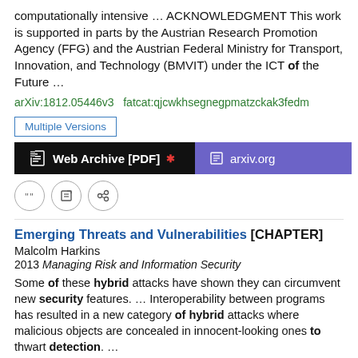computationally intensive  …  ACKNOWLEDGMENT This work is supported in parts by the Austrian Research Promotion Agency (FFG) and the Austrian Federal Ministry for Transport, Innovation, and Technology (BMVIT) under the ICT of the Future  …
arXiv:1812.05446v3   fatcat:qjcwkhsegnegpmatzckak3fedm
Multiple Versions
[Figure (other): Two buttons: 'Web Archive [PDF]' (black background with red asterisk) and 'arxiv.org' (purple background). Below: three circular icon buttons for cite, edit, and share.]
Emerging Threats and Vulnerabilities [CHAPTER]
Malcolm Harkins
2013 Managing Risk and Information Security
Some of these hybrid attacks have shown they can circumvent new security features.  …  Interoperability between programs has resulted in a new category of hybrid attacks where malicious objects are concealed in innocent-looking ones to thwart detection.  …
doi:10.1007/978-1-4302-5114-9_6
fatcat:7zxrpnshlpb7ngfibi4dzega7e